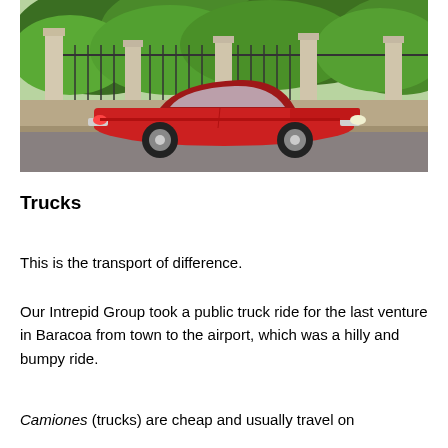[Figure (photo): A classic red convertible car parked on a street in front of a lush green ivy-covered wall and stone gate pillars.]
Trucks
This is the transport of difference.
Our Intrepid Group took a public truck ride for the last venture in Baracoa from town to the airport, which was a hilly and bumpy ride.
Camiones (trucks) are cheap and usually travel on